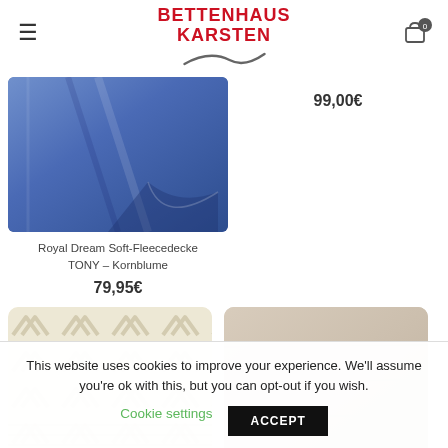[Figure (logo): Bettenhaus Karsten logo with red bold text and grey swoosh underneath]
99,00€
[Figure (photo): Blue fleece blanket (Royal Dream Soft-Fleecedecke TONY Kornblume) folded]
Royal Dream Soft-Fleecedecke
TONY – Kornblume
79,95€
[Figure (photo): Cream/beige pillow with chevron arrow pattern]
[Figure (photo): Plain light beige/taupe pillow]
This website uses cookies to improve your experience. We'll assume you're ok with this, but you can opt-out if you wish.
Cookie settings
ACCEPT